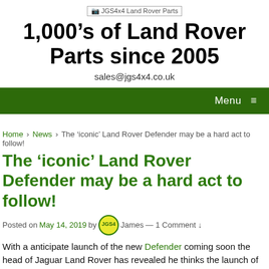[Figure (logo): JGS4x4 Land Rover Parts logo placeholder image]
1,000’s of Land Rover Parts since 2005
sales@jgs4x4.co.uk
Menu ≡
Home › News › The ‘iconic’ Land Rover Defender may be a hard act to follow!
The ‘iconic’ Land Rover Defender may be a hard act to follow!
Posted on May 14, 2019 by James — 1 Comment ↓
With a anticipate launch of the new Defender coming soon the head of Jaguar Land Rover has revealed he thinks the launch of the new-generation Defender won’t be “easy”.